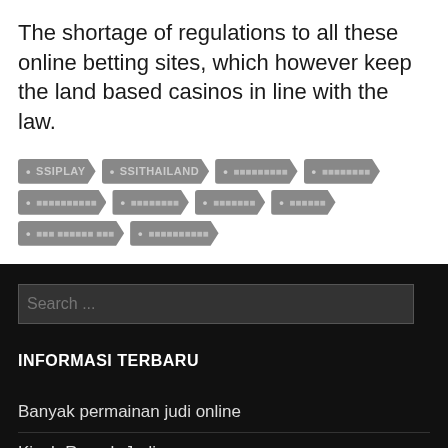The shortage of regulations to all these online betting sites, which however keep the land based casinos in line with the law.
• SSIPLAY
• SSITHAILAND
• [garbled text]
• [garbled text]
• [garbled text]
• [garbled text]
• [garbled text]
• [garbled text]
• [garbled text]
• [garbled text]
INFORMASI TERBARU
Banyak permainan judi online
Kisah Rumah Judi